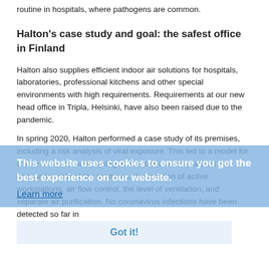routine in hospitals, where pathogens are common.
Halton's case study and goal: the safest office in Finland
Halton also supplies efficient indoor air solutions for hospitals, laboratories, professional kitchens and other special environments with high requirements. Requirements at our new head office in Tripla, Helsinki, have also been raised due to the pandemic.
In spring 2020, Halton performed a case study of its premises, including a risk analysis of viral exposure. This led to a model for a safe return to work, taking account of matters such as the occupancy rate of the premises, the location of active workstations, air flow control, the level of ventilation, and separate air purification. No coronavirus infections have been detected so far in
This website uses cookies to ensure you get the best experience on our website.
Learn more
Got it!